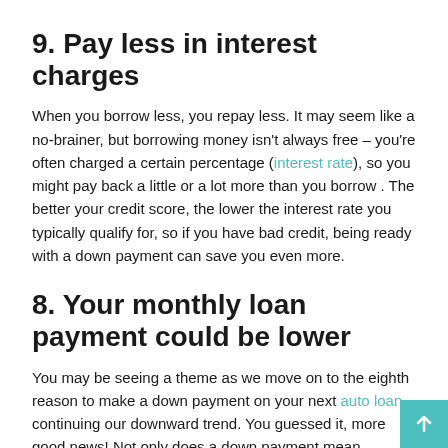9. Pay less in interest charges
When you borrow less, you repay less. It may seem like a no-brainer, but borrowing money isn't always free – you're often charged a certain percentage (interest rate), so you might pay back a little or a lot more than you borrow . The better your credit score, the lower the interest rate you typically qualify for, so if you have bad credit, being ready with a down payment can save you even more.
8. Your monthly loan payment could be lower
You may be seeing a theme as we move on to the eighth reason to make a down payment on your next auto loan – continuing our downward trend. You guessed it, more good news! Not only does a down payment mean borrowing and paying back less